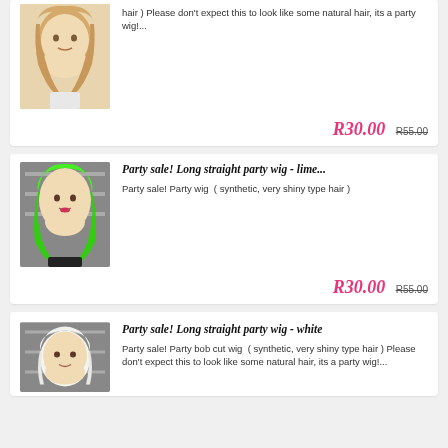[Figure (photo): Mannequin head wearing a blonde party wig]
hair ) Please don't expect this to look like some natural hair, its a party wig!...
R30.00  R55.00
[Figure (photo): Mannequin head wearing a long straight lime green party wig]
Party sale! Long straight party wig - lime...
Party sale! Party wig  ( synthetic, very shiny type hair )
R30.00  R55.00
[Figure (photo): Mannequin head wearing a short white bob party wig]
Party sale! Long straight party wig - white
Party sale! Party bob cut wig  ( synthetic, very shiny type hair ) Please don't expect this to look like some natural hair, its a party wig!...